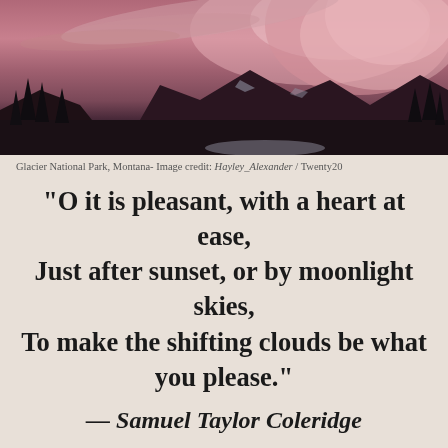[Figure (photo): Photograph of Glacier National Park, Montana at sunset with dramatic pink and purple clouds over mountain peaks and silhouetted trees]
Glacier National Park, Montana- Image credit: Hayley_Alexander / Twenty20
“O it is pleasant, with a heart at ease, Just after sunset, or by moonlight skies, To make the shifting clouds be what you please.”
— Samuel Taylor Coleridge